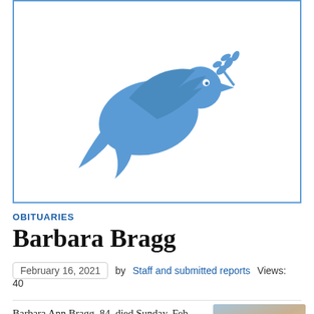[Figure (illustration): A blue silhouette dove carrying an olive branch, centered inside a blue-bordered white rectangle.]
OBITUARIES
Barbara Bragg
February 16, 2021   by Staff and submitted reports   Views: 40
Barbara Ann Bragg, 84, died Sunday, Feb. 14, 2021, at J.W.
[Figure (photo): Portrait photo of Barbara Bragg, an elderly woman with light hair.]